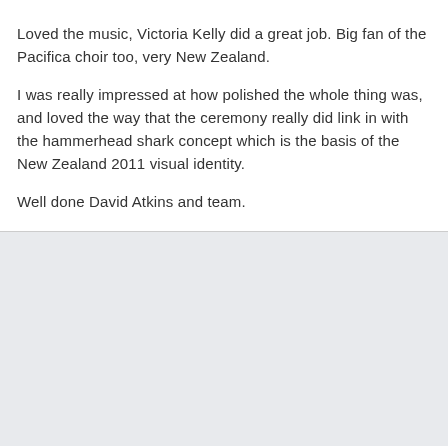Loved the music, Victoria Kelly did a great job. Big fan of the Pacifica choir too, very New Zealand.
I was really impressed at how polished the whole thing was, and loved the way that the ceremony really did link in with the hammerhead shark concept which is the basis of the New Zealand 2011 visual identity.
Well done David Atkins and team.